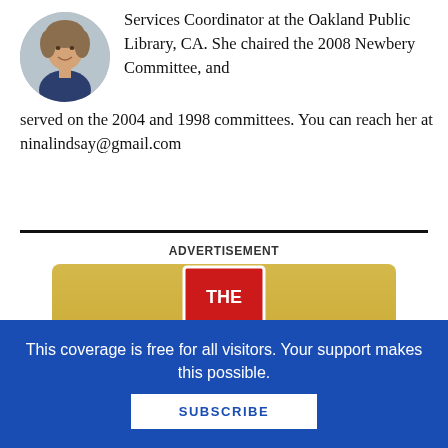[Figure (photo): Circular portrait photo of a smiling woman in a library setting]
Services Coordinator at the Oakland Public Library, CA. She chaired the 2008 Newbery Committee, and served on the 2004 and 1998 committees. You can reach her at ninalindsay@gmail.com
ADVERTISEMENT
[Figure (photo): Advertisement banner with gold background showing a red book cover with text 'THE YADU']
This coverage is free for all visitors. Your support makes this possible.
SUBSCRIBE